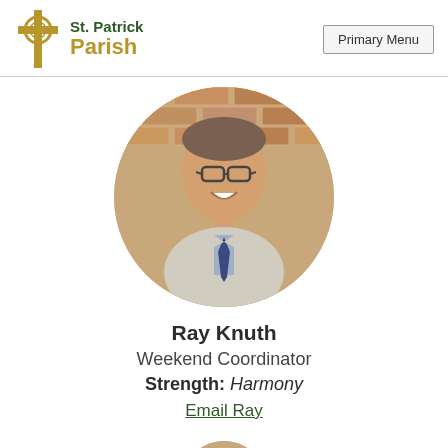St. Patrick Parish
[Figure (photo): Circular portrait photo of Ray Knuth, a smiling man with glasses wearing a grey cardigan and blue tie, against a brick wall background]
Ray Knuth
Weekend Coordinator
Strength: Harmony
Email Ray
[Figure (photo): Partial circular portrait photo of another person, cropped at bottom of page]